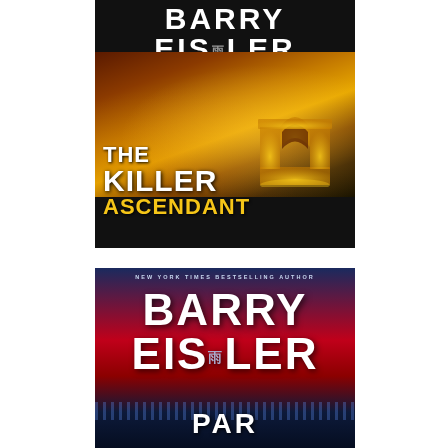[Figure (illustration): Book cover for 'The Killer Ascendant' by Barry Eisler. A John Rain Novel, previously published as Requiem for an Assassin. Dark background with aerial night view of Paris featuring the Arc de Triomphe illuminated in gold. Title text in large white and yellow letters at bottom left.]
[Figure (illustration): Second book cover by Barry Eisler. Credited as New York Times Bestselling Author. Red, blue, and dark navy color scheme with large white author name text and city scene at bottom. Partial title visible.]